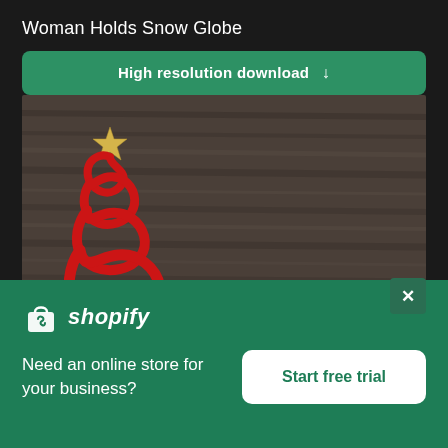Woman Holds Snow Globe
High resolution download ↓
[Figure (photo): A Christmas tree shape made from a red ribbon on a dark wooden background, with a gold star on top.]
[Figure (logo): Shopify logo with shopping bag icon and italic shopify text in white on green background.]
Need an online store for your business?
Start free trial